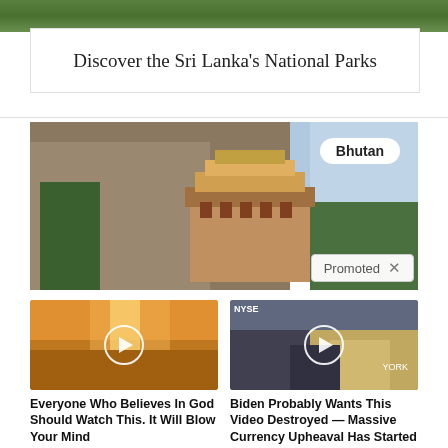[Figure (photo): Partial top image strip showing green foliage]
Discover the Sri Lanka's National Parks
[Figure (photo): Bhutan monastery built into a cliff face with mountains behind, labeled 'Bhutan', marked as 'Promoted']
[Figure (photo): Video thumbnail showing sun rays through clouds, play button overlay]
Everyone Who Believes In God Should Watch This. It Will Blow Your Mind
28,607
[Figure (photo): Video thumbnail showing NYSE floor news segment, play button overlay]
Biden Probably Wants This Video Destroyed — Massive Currency Upheaval Has Started
86,455